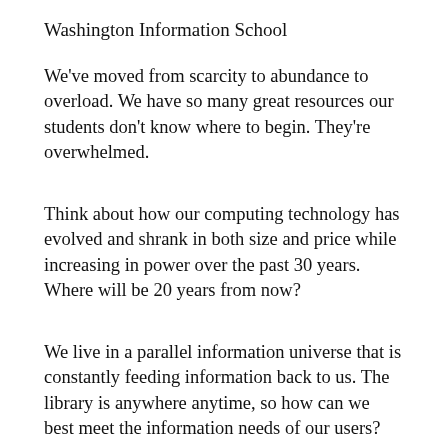Washington Information School
We've moved from scarcity to abundance to overload. We have so many great resources our students don't know where to begin. They're overwhelmed.
Think about how our computing technology has evolved and shrank in both size and price while increasing in power over the past 30 years. Where will be 20 years from now?
We live in a parallel information universe that is constantly feeding information back to us. The library is anywhere anytime, so how can we best meet the information needs of our users?